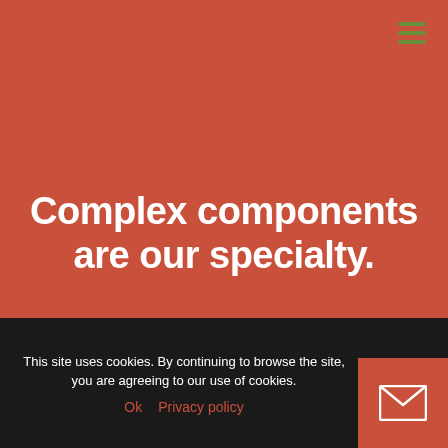[Figure (other): Hamburger menu icon with three green horizontal bars in top-right corner]
Complex components are our specialty.
Similarly, we pride ourselves on precision and specialize in complex product line
This site uses cookies. By continuing to browse the site, you are agreeing to our use of cookies.
Ok  Privacy policy